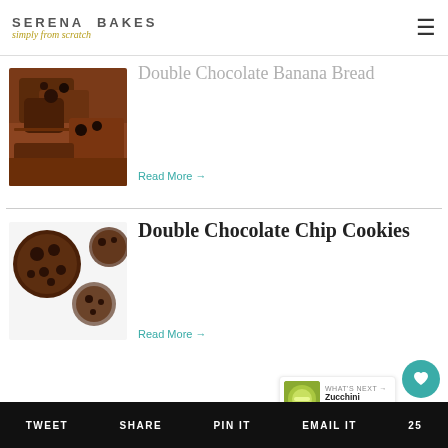SERENA BAKES simply from scratch
Double Chocolate Banana Bread
Read More →
Double Chocolate Chip Cookies
Read More →
[Figure (photo): Sliced double chocolate banana bread pieces showing rich dark chocolate texture]
[Figure (photo): Double chocolate chip cookies on white surface with chocolate chips visible]
66
WHAT'S NEXT → Zucchini Cheddar...
TWEET   SHARE   PIN IT   EMAIL IT   25